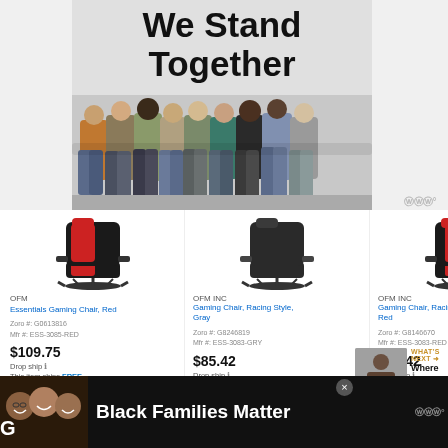[Figure (photo): Banner image showing group of diverse people with arms around each other standing together, with large bold text reading 'We Stand Together' above them on a light background]
OFM
Essentials Gaming Chair, Red
Zoro #: G0813816
Mfr #: ESS-3085-RED
$109.75
Drop ship
This item ships FREE.
OFM INC
Gaming Chair, Racing Style, Gray
Zoro #: G8246819
Mfr #: ESS-3083-GRY
$85.42
Drop ship
This item ships FREE.
OFM INC
Gaming Chair, Racing Style, Red
Zoro #: G8146670
Mfr #: ESS-3083-RED
$85.42
Drop ship
This item ships FREE.
WHAT'S NEXT → Where To Buy Beaded...
[Figure (photo): Advertisement banner at bottom showing Black family smiling, with text 'Black Families Matter' on dark background]